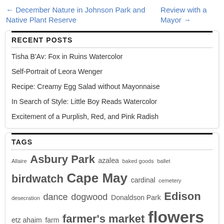← December Nature in Johnson Park and Native Plant Reserve
Review with a Mayor →
RECENT POSTS
Tisha B'Av: Fox in Ruins Watercolor
Self-Portrait of Leora Wenger
Recipe: Creamy Egg Salad without Mayonnaise
In Search of Style: Little Boy Reads Watercolor
Excitement of a Purplish, Red, and Pink Radish
TAGS
Allaire Asbury Park azalea baked goods ballet birdwatch Cape May cardinal cemetery desecration dance dogwood Donaldson Park Edison etz ahaim farm farmer's market flowers foliage guest interview hakarat hatov hpplnj illustration macrobiotic mushroom nasturtium New